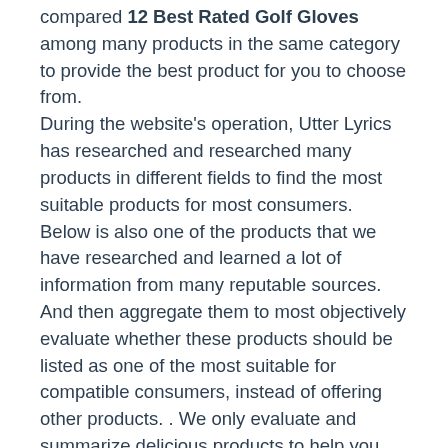compared 12 Best Rated Golf Gloves among many products in the same category to provide the best product for you to choose from. During the website's operation, Utter Lyrics has researched and researched many products in different fields to find the most suitable products for most consumers. Below is also one of the products that we have researched and learned a lot of information from many reputable sources. And then aggregate them to most objectively evaluate whether these products should be listed as one of the most suitable for compatible consumers, instead of offering other products. . We only evaluate and summarize delicious products to help you choose good products and deserve what you expect! Check out our top recommendations now to find the product that works best for you! We only accept money if you buy a product through our links and all product reviews are our...